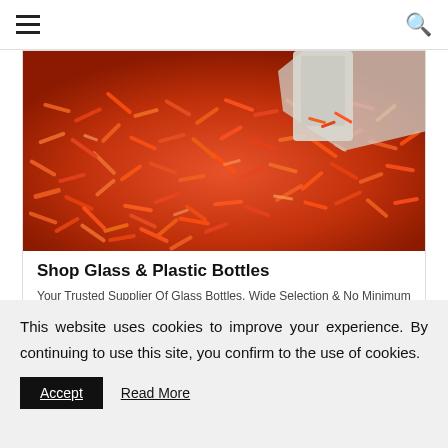Navigation bar with hamburger menu and search icon
[Figure (photo): Close-up photo of orange/red glass or plastic rods/pellets being poured, viewed from above with a scoop/hopper visible at the top]
Shop Glass & Plastic Bottles
Your Trusted Supplier Of Glass Bottles. Wide Selection & No Minimum Orders.
This website uses cookies to improve your experience. By continuing to use this site, you confirm to the use of cookies.
Accept  Read More